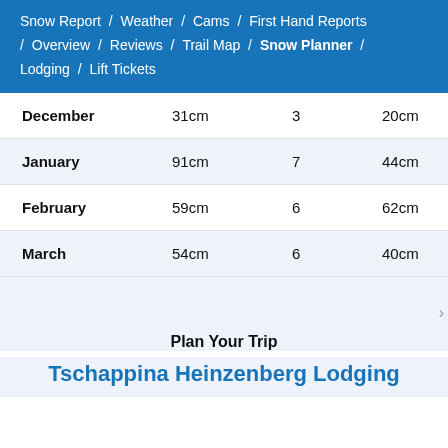Snow Report / Weather / Cams / First Hand Reports / Overview / Reviews / Trail Map / Snow Planner / Lodging / Lift Tickets
| Month | Snowfall | Days | Base Depth |
| --- | --- | --- | --- |
| December | 31cm | 3 | 20cm |
| January | 91cm | 7 | 44cm |
| February | 59cm | 6 | 62cm |
| March | 54cm | 6 | 40cm |
Plan Your Trip
Tschappina Heinzenberg Lodging